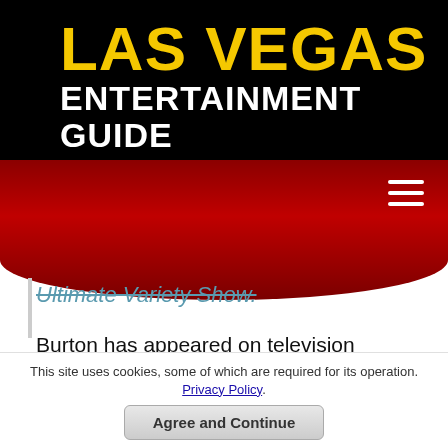LAS VEGAS ENTERTAINMENT GUIDE
Ultimate Variety Show.
Burton has appeared on television around the world including cities like Seoul, South Korea; Paris, France; Lisbon, Portugal and Santiago, Chile. Burton has also been featured on several television shows like E! Entertainment with Wayne Newton, Miss USA Pageant, The World's Greatest Magic on NBC, Miami Ink and don't forget about his stunning performances on the first season of America's Got Talent.
This site uses cookies, some of which are required for its operation. Privacy Policy.
Agree and Continue